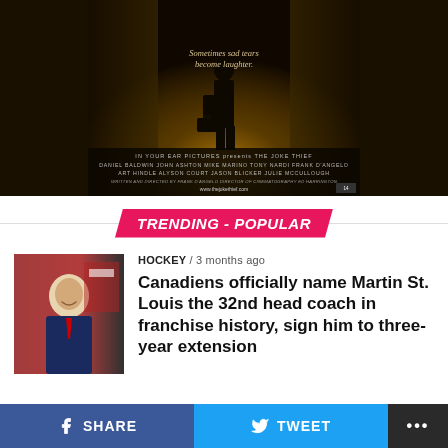[Figure (photo): Movie poster for 'The Joke Thief' showing a silhouetted figure in a dark alley holding a briefcase. Text reads 'Sometimes sad tears become laughter.' Credits include Daniel Baldwin, John Ashton, Mike Marino, Tony Nardi, Frank D'Angelo, Art Hindle, Alyson Court, Jason Blicker, Julie McCullough. Written and directed by Frank D'Angelo. www.thejokethief.com]
TRENDING - POPULAR
[Figure (photo): Thumbnail photo of a man in a suit smiling, with a flag in background]
HOCKEY / 3 months ago
Canadiens officially name Martin St. Louis the 32nd head coach in franchise history, sign him to three-year extension
SHARE   TWEET   ...